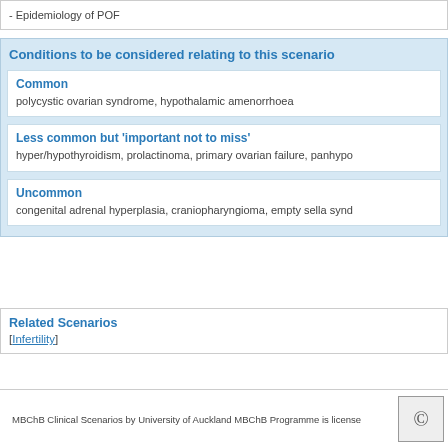- Epidemiology of POF
Conditions to be considered relating to this scenario
Common
polycystic ovarian syndrome, hypothalamic amenorrhoea
Less common but 'important not to miss'
hyper/hypothyroidism, prolactinoma, primary ovarian failure, panhypo...
Uncommon
congenital adrenal hyperplasia, craniopharyngioma, empty sella synd...
Related Scenarios
[Infertility]
MBChB Clinical Scenarios by University of Auckland MBChB Programme is license...